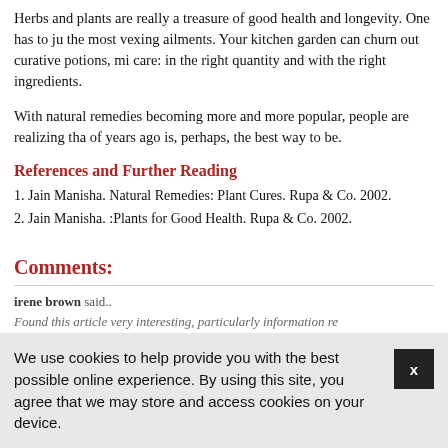Herbs and plants are really a treasure of good health and longevity. One has to just know what herbs to use to deal with the most vexing ailments. Your kitchen garden can churn out curative potions, miracle creams and remedies if you take care: in the right quantity and with the right ingredients.
With natural remedies becoming more and more popular, people are realizing that going back to nature as people did thousands of years ago is, perhaps, the best way to be.
References and Further Reading
1. Jain Manisha. Natural Remedies: Plant Cures. Rupa & Co. 2002.
2. Jain Manisha. :Plants for Good Health. Rupa & Co. 2002.
Comments:
irene brown said..
Found this article very interesting, particularly information re
We use cookies to help provide you with the best possible online experience. By using this site, you agree that we may store and access cookies on your device.